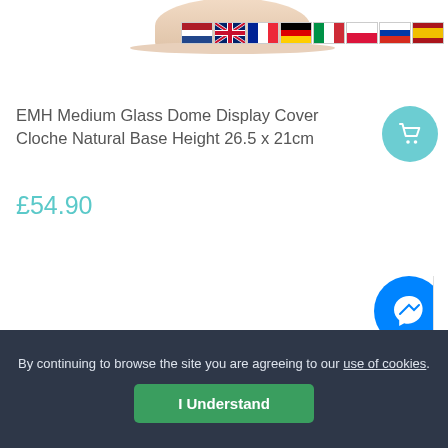[Figure (screenshot): Partial product image (glass dome cloche) at top, with country flag icons (Netherlands, UK, France, Germany, Italy, Poland, Russia, Spain) to the right]
EMH Medium Glass Dome Display Cover Cloche Natural Base Height 26.5 x 21cm
£54.90
[Figure (other): Facebook Messenger chat button (blue circle with white lightning bolt icon)]
By continuing to browse the site you are agreeing to our use of cookies.
I Understand